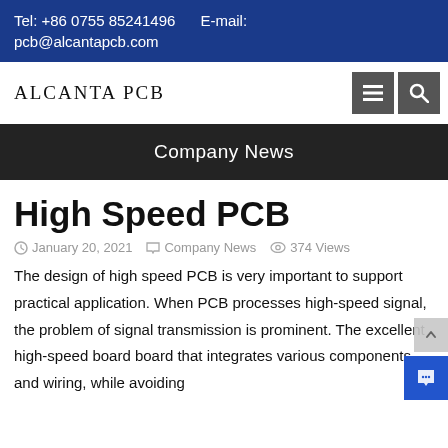Tel: +86 0755 85241496   E-mail: pcb@alcantapcb.com
ALCANTA PCB
Company News
High Speed PCB
January 20, 2021   Company News   374 Views
The design of high speed PCB is very important to support practical application. When PCB processes high-speed signal, the problem of signal transmission is prominent. The excellent high-speed board board that integrates various components and wiring, while avoiding